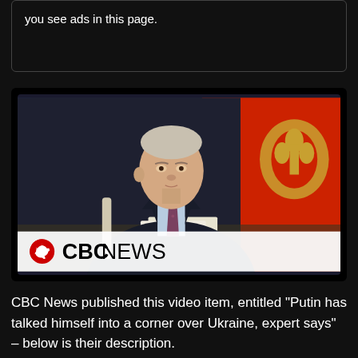you see ads in this page.
[Figure (screenshot): CBC News video thumbnail showing a man (Putin) in a dark suit with a patterned tie, seated at a table holding papers. Behind him is a red background with a golden Russian coat of arms emblem. The CBC News logo is overlaid at the bottom of the image.]
CBC News published this video item, entitled “Putin has talked himself into a corner over Ukraine, expert says” – below is their description.